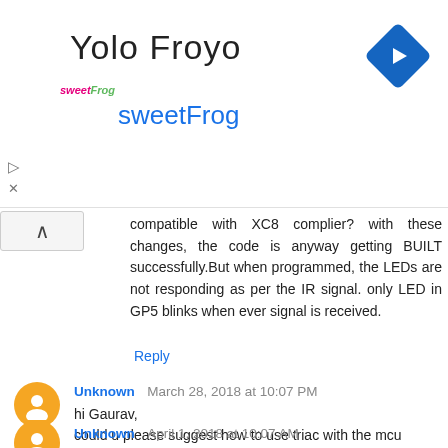[Figure (logo): SweetFrog ad banner with logo, title 'Yolo Froyo', subtitle 'sweetFrog', navigation diamond icon, and ad controls]
compatible with XC8 complier? with these changes, the code is anyway getting BUILT successfully.But when programmed, the LEDs are not responding as per the IR signal. only LED in GP5 blinks when ever signal is received.
Reply
Unknown March 28, 2018 at 10:07 PM
hi Gaurav,
could u please suggest how to use triac with the mcu instead of relay????
Reply
Unknown April 1, 2018 at 10:07 AM